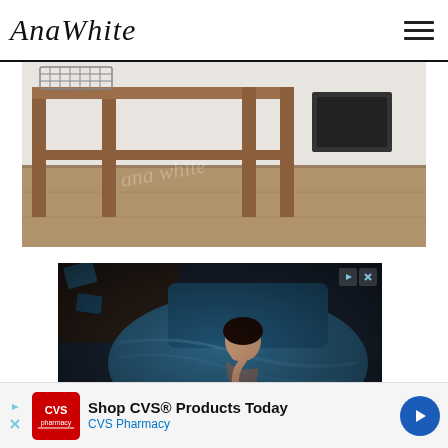AnaWhite
[Figure (photo): Wooden shelf/bench furniture with wire basket on top shelf and items on lower shelf, photographed from side angle on hardwood floor with patterned rug]
[Figure (photo): Aerial view of a woman sleeping on a bed with blue/teal bedding in a dark room]
[Figure (other): Advertisement banner: Shop CVS Products Today - CVS Pharmacy, with red CVS pharmacy logo and blue arrow button]